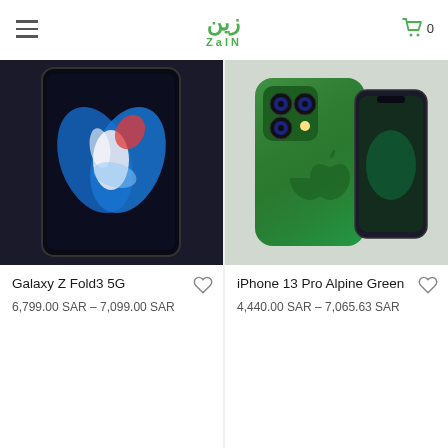Zain
[Figure (photo): Samsung Galaxy Z Fold3 5G smartphone shown open displaying a blue/white/red butterfly-like abstract design on its large inner screen, against a dark background]
Galaxy Z Fold3 5G
6,799.00 SAR – 7,099.00 SAR
[Figure (photo): iPhone 13 Pro in Alpine Green color shown from the back at an angle with the triple camera system visible, alongside a front view of the phone]
iPhone 13 Pro Alpine Green
4,440.00 SAR – 7,065.63 SAR